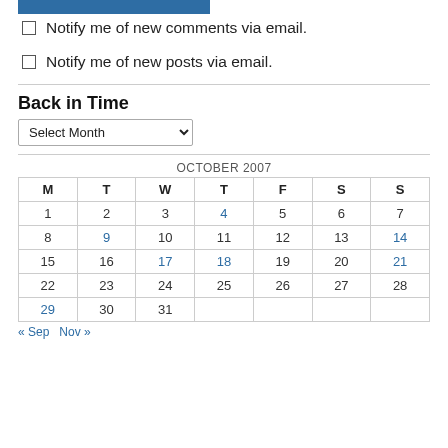[Figure (other): Blue rectangular button/bar at top]
Notify me of new comments via email.
Notify me of new posts via email.
Back in Time
Select Month (dropdown)
| M | T | W | T | F | S | S |
| --- | --- | --- | --- | --- | --- | --- |
| 1 | 2 | 3 | 4 | 5 | 6 | 7 |
| 8 | 9 | 10 | 11 | 12 | 13 | 14 |
| 15 | 16 | 17 | 18 | 19 | 20 | 21 |
| 22 | 23 | 24 | 25 | 26 | 27 | 28 |
| 29 | 30 | 31 |  |  |  |  |
« Sep   Nov »